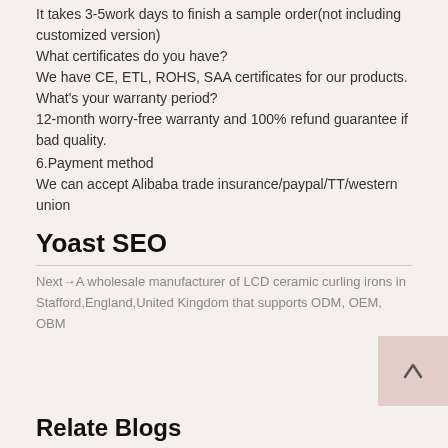It takes 3-5work days to finish a sample order(not including customized version)
What certificates do you have?
We have CE, ETL, ROHS, SAA certificates for our products.
What's your warranty period?
12-month worry-free warranty and 100% refund guarantee if bad quality.
6.Payment method
We can accept Alibaba trade insurance/paypal/TT/western union
Yoast SEO
Next→A wholesale manufacturer of LCD ceramic curling irons in Stafford,England,United Kingdom that supports ODM, OEM, OBM
Relate Blogs